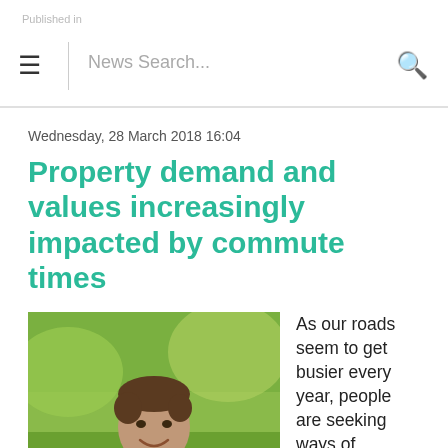Published in  |  News Search...
Wednesday, 28 March 2018 16:04
Property demand and values increasingly impacted by commute times
[Figure (photo): Man in dark suit and pink tie smiling outdoors, green foliage background]
As our roads seem to get busier every year, people are seeking ways of reducing their commute times to